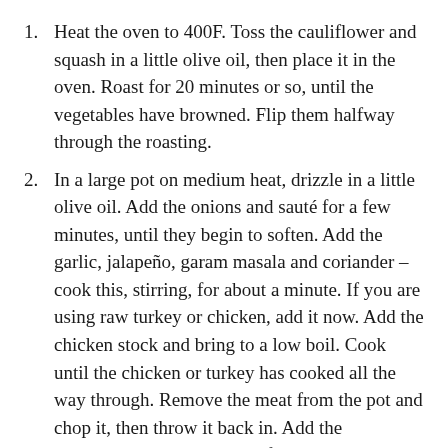Heat the oven to 400F. Toss the cauliflower and squash in a little olive oil, then place it in the oven. Roast for 20 minutes or so, until the vegetables have browned. Flip them halfway through the roasting.
In a large pot on medium heat, drizzle in a little olive oil. Add the onions and sauté for a few minutes, until they begin to soften. Add the garlic, jalapeño, garam masala and coriander – cook this, stirring, for about a minute. If you are using raw turkey or chicken, add it now. Add the chicken stock and bring to a low boil. Cook until the chicken or turkey has cooked all the way through. Remove the meat from the pot and chop it, then throw it back in. Add the buckwheat groats and cook for about 20 minutes, testing partway through to see if they are done.
If you are using leftover meat, you can just add the buckwheat groats after you have cooked the…